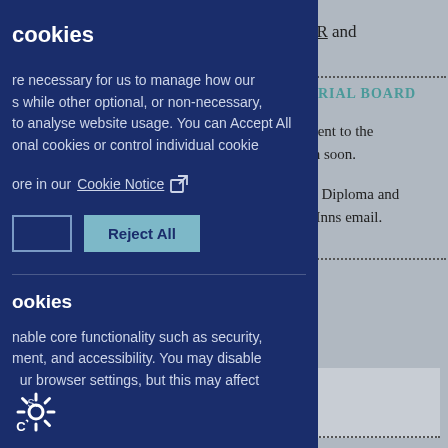ER and
ORIAL BOARD
ment to the en soon.
to Diploma and s Inns email.
cookies
re necessary for us to manage how our s while other optional, or non-necessary, to analyse website usage. You can Accept All onal cookies or control individual cookie
ore in our Cookie Notice
Reject All
ookies
nable core functionality such as security, ment, and accessibility. You may disable ur browser settings, but this may affect s.